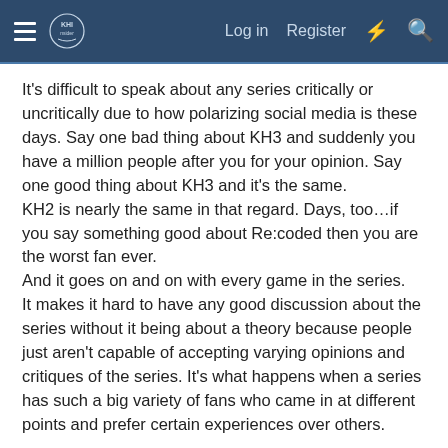KHInsider forum navigation bar with Log in, Register, and icon links
It's difficult to speak about any series critically or uncritically due to how polarizing social media is these days. Say one bad thing about KH3 and suddenly you have a million people after you for your opinion. Say one good thing about KH3 and it's the same.
KH2 is nearly the same in that regard. Days, too…if you say something good about Re:coded then you are the worst fan ever.
And it goes on and on with every game in the series.
It makes it hard to have any good discussion about the series without it being about a theory because people just aren't capable of accepting varying opinions and critiques of the series. It's what happens when a series has such a big variety of fans who came in at different points and prefer certain experiences over others.